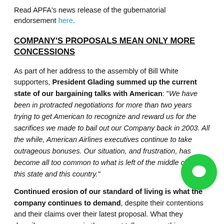Read APFA's news release of the gubernatorial endorsement here.
COMPANY'S PROPOSALS MEAN ONLY MORE CONCESSIONS
As part of her address to the assembly of Bill White supporters, President Glading summed up the current state of our bargaining talks with American: "We have been in protracted negotiations for more than two years trying to get American to recognize and reward us for the sacrifices we made to bail out our Company back in 2003. All the while, American Airlines executives continue to take outrageous bonuses. Our situation, and frustration, has become all too common to what is left of the middle class in this state and this country."
Continued erosion of our standard of living is what the company continues to demand, despite their contentions and their claims over their latest proposal. What they describe as progress in the recent talks were nothing more than minuscule